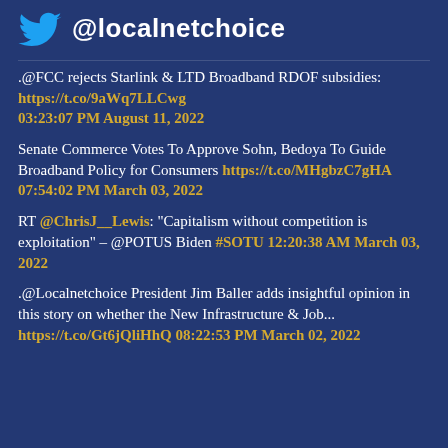@localnetchoice
.@FCC rejects Starlink & LTD Broadband RDOF subsidies: https://t.co/9aWq7LLCwg 03:23:07 PM August 11, 2022
Senate Commerce Votes To Approve Sohn, Bedoya To Guide Broadband Policy for Consumers https://t.co/MHgbzC7gHA 07:54:02 PM March 03, 2022
RT @ChrisJ__Lewis: "Capitalism without competition is exploitation" - @POTUS Biden #SOTU 12:20:38 AM March 03, 2022
.@Localnetchoice President Jim Baller adds insightful opinion in this story on whether the New Infrastructure & Job... https://t.co/Gt6jQliHhQ 08:22:53 PM March 02, 2022